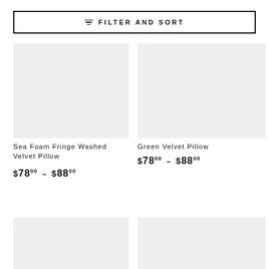≡  FILTER AND SORT
[Figure (other): Product image placeholder for Sea Foam Fringe Washed Velvet Pillow - light gray rectangle]
Sea Foam Fringe Washed Velvet Pillow
$78.00 – $88.00
[Figure (other): Product image placeholder for Green Velvet Pillow - light gray rectangle]
Green Velvet Pillow
$78.00 – $88.00
[Figure (other): Product image placeholder - light gray rectangle (partial, bottom-left)]
[Figure (other): Product image placeholder - light gray rectangle (partial, bottom-right)]